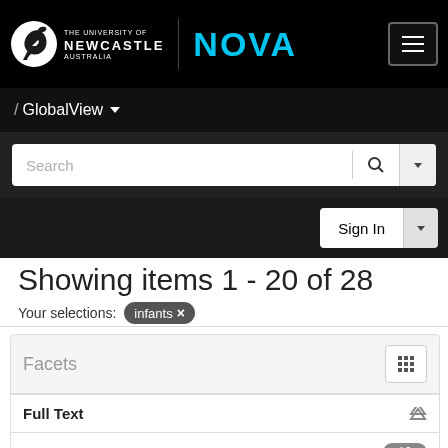[Figure (logo): University of Newcastle NOVA logo with horse icon on black navigation bar]
/ GlobalView ▾
Search
Sign In
Showing items 1 - 20 of 28
Your selections: infants ×
Facets
Full Text
Yes 19